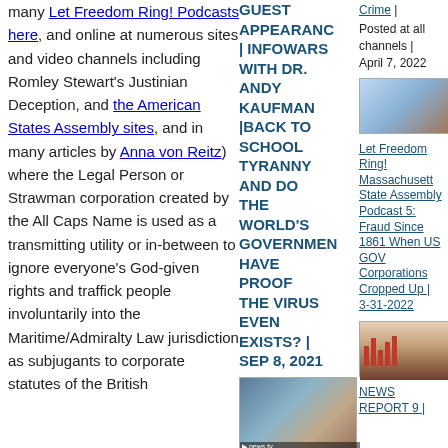many Let Freedom Ring! Podcasts here, and online at numerous sites and video channels including Romley Stewart's Justinian Deception, and the American States Assembly sites, and in many articles by Anna von Reitz) where the Legal Person or Strawman corporation created by the All Caps Name is used as a transmitting utility or in-between to ignore everyone's God-given rights and traffick people involuntarily into the Maritime/Admiralty Law jurisdiction as subjugants to corporate statutes of the British
GUEST APPEARANCE | INFOWARS WITH DR. ANDY KAUFMAN |BACK TO SCHOOL TYRANNY AND DO THE WORLD'S GOVERNMENTS HAVE PROOF THE VIRUS EVEN EXISTS? | SEP 8, 2021
[Figure (photo): Thumbnail of a video featuring a man and woman, with a news.tv watermark]
Crime | Posted at all channels | April 7, 2022
[Figure (photo): Thumbnail image showing people at what appears to be a protest or assembly]
Let Freedom Ring! Massachusetts State Assembly Podcast 5: Fraud Since 1861 When US GOV Corporations Cropped Up | 3-31-2022
[Figure (photo): Thumbnail showing bar charts and people, appears to be a news report graphic]
NEWS REPORT 9 |